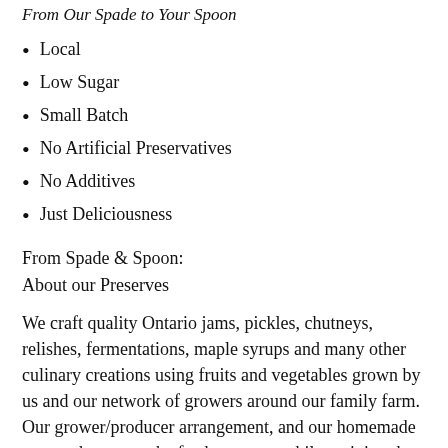From Our Spade to Your Spoon
Local
Low Sugar
Small Batch
No Artificial Preservatives
No Additives
Just Deliciousness
From Spade & Spoon:
About our Preserves
We craft quality Ontario jams, pickles, chutneys, relishes, fermentations, maple syrups and many other culinary creations using fruits and vegetables grown by us and our network of growers around our family farm. Our grower/producer arrangement, and our homemade approach ensures the freshest tastes while reviving the lost art of seasonal food